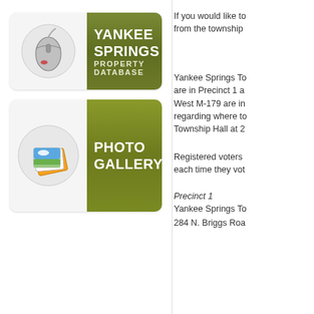[Figure (screenshot): Yankee Springs Property Database button with olive/green gradient label and computer mouse icon]
[Figure (screenshot): Photo Gallery button with olive/gold gradient label and photo stack icon]
If you would like to from the township
Yankee Springs To are in Precinct 1 a West M-179 are in regarding where to Township Hall at 2
Registered voters each time they vot
Precinct 1
Yankee Springs To
284 N. Briggs Roa